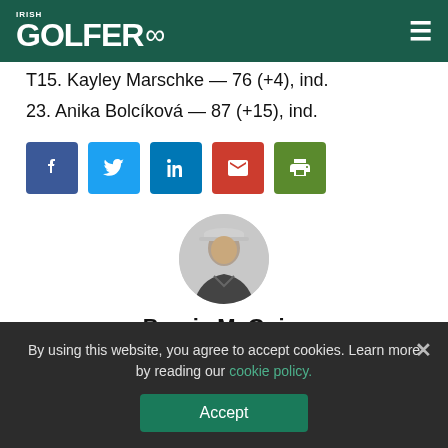IRISH GOLFER ∞
T15. Kayley Marschke — 76 (+4), ind.
23. Anika Bolcíková — 87 (+15), ind.
[Figure (infographic): Row of five social share buttons: Facebook (blue), Twitter (light blue), LinkedIn (blue), Email (red), Print (green)]
[Figure (photo): Circular headshot photo of Bernie McGuire wearing a cap and dark jacket, greyscale tones]
Bernie McGuire
Feature Interviews
By using this website, you agree to accept cookies. Learn more by reading our cookie policy.
Accept